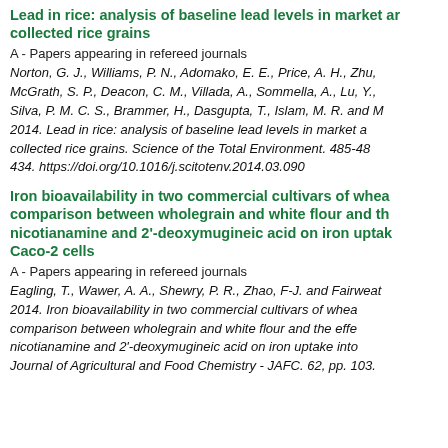Lead in rice: analysis of baseline lead levels in market and collected rice grains
A - Papers appearing in refereed journals
Norton, G. J., Williams, P. N., Adomako, E. E., Price, A. H., Zhu, McGrath, S. P., Deacon, C. M., Villada, A., Sommella, A., Lu, Y., Silva, P. M. C. S., Brammer, H., Dasgupta, T., Islam, M. R. and I 2014. Lead in rice: analysis of baseline lead levels in market a collected rice grains. Science of the Total Environment. 485-48 434. https://doi.org/10.1016/j.scitotenv.2014.03.090
Iron bioavailability in two commercial cultivars of whea comparison between wholegrain and white flour and th nicotianamine and 2'-deoxymugineic acid on iron uptak Caco-2 cells
A - Papers appearing in refereed journals
Eagling, T., Wawer, A. A., Shewry, P. R., Zhao, F-J. and Fairweat 2014. Iron bioavailability in two commercial cultivars of whea comparison between wholegrain and white flour and the effe nicotianamine and 2'-deoxymugineic acid on iron uptake into Journal of Agricultural and Food Chemistry - JAFC. 62, pp. 103.